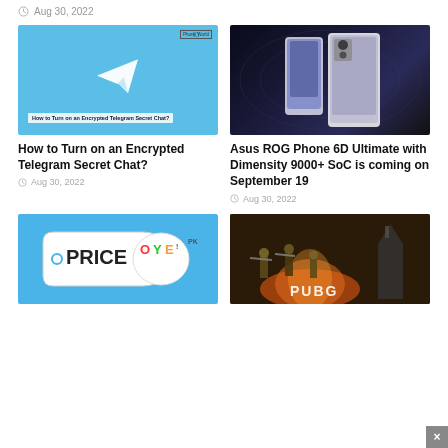Aug 30, 2022
[Figure (screenshot): Telegram Secret Chat article thumbnail — light blue background with white paper airplane icon and text 'How to Turn on an Encrypted Telegram Secret Chat?' with Phone World logo]
How to Turn on an Encrypted Telegram Secret Chat?
Aug 30, 2022
[Figure (photo): Asus ROG Phone 6D Ultimate smartphone on dark space-like background with rings]
Asus ROG Phone 6D Ultimate with Dimensity 9000+ SoC is coming on September 19
Aug 30, 2022
[Figure (screenshot): PriceOye logo on blue background — price tag shape with 'PRICE OYE!' text]
[Figure (photo): PUBG game screenshot — soldiers with weapons in action scene with church and explosions]